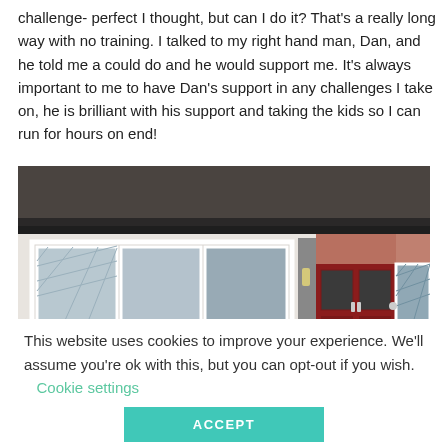challenge- perfect I thought, but can I do it? That's a really long way with no training. I talked to my right hand man, Dan, and he told me a could do and he would support me. It's always important to me to have Dan's support in any challenges I take on, he is brilliant with his support and taking the kids so I can run for hours on end!
[Figure (photo): Exterior photograph of a residential house with a dark-tiled roof, white rendered walls, white-framed windows with diamond-patterned glazing, a red double front door with glass panels, and a wall-mounted light. A portion of a dark car is visible on the right edge.]
This website uses cookies to improve your experience. We'll assume you're ok with this, but you can opt-out if you wish.
Cookie settings
ACCEPT